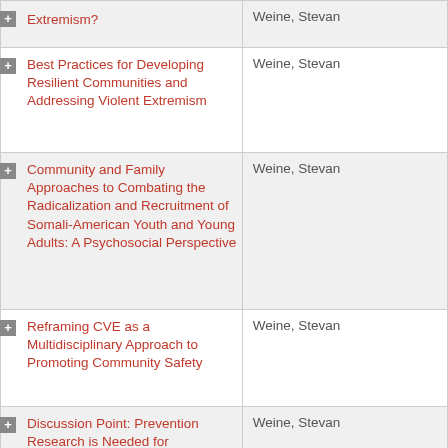| Title | Author |
| --- | --- |
| Extremism? | Weine, Stevan |
| Best Practices for Developing Resilient Communities and Addressing Violent Extremism | Weine, Stevan |
| Community and Family Approaches to Combating the Radicalization and Recruitment of Somali-American Youth and Young Adults: A Psychosocial Perspective | Weine, Stevan |
| Reframing CVE as a Multidisciplinary Approach to Promoting Community Safety | Weine, Stevan |
| Discussion Point: Prevention Research is Needed for Countering Violent Extremism | Weine, Stevan |
| Attitudes Regarding Becoming an Engaged Bystander for Targeted Violence Prevention | Weine, Stevan |
| Violent Extremism Community... | Weine, Stevan |